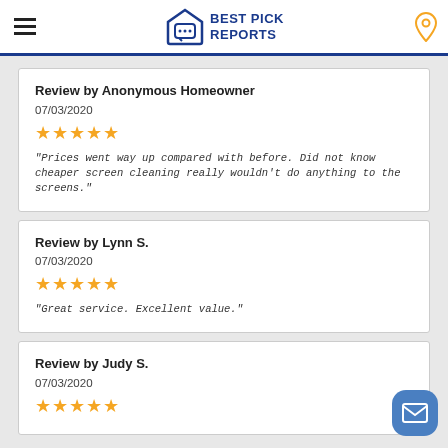Best Pick Reports
Review by Anonymous Homeowner
07/03/2020
★★★★★
"Prices went way up compared with before. Did not know cheaper screen cleaning really wouldn't do anything to the screens."
Review by Lynn S.
07/03/2020
★★★★★
"Great service. Excellent value."
Review by Judy S.
07/03/2020
★★★★★